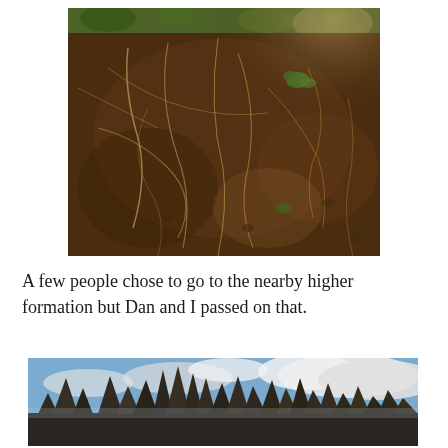[Figure (photo): Close-up photograph of a soil cross-section showing dark brown earth with exposed roots, small stones, and grass/vegetation visible at the top edge.]
A few people chose to go to the nearby higher formation but Dan and I passed on that.
[Figure (photo): Photograph of jagged rocky mountain formations (pinnacles/spires) against a partly cloudy sky with white clouds.]